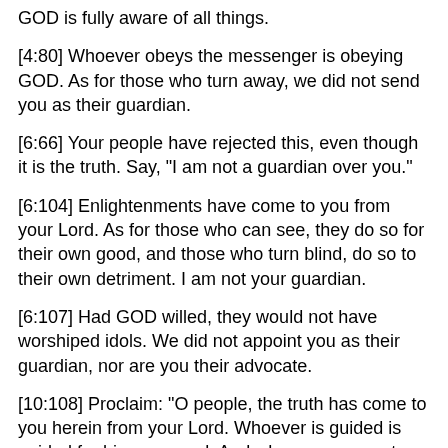GOD is fully aware of all things.
[4:80] Whoever obeys the messenger is obeying GOD. As for those who turn away, we did not send you as their guardian.
[6:66] Your people have rejected this, even though it is the truth. Say, "I am not a guardian over you."
[6:104] Enlightenments have come to you from your Lord. As for those who can see, they do so for their own good, and those who turn blind, do so to their own detriment. I am not your guardian.
[6:107] Had GOD willed, they would not have worshiped idols. We did not appoint you as their guardian, nor are you their advocate.
[10:108] Proclaim: "O people, the truth has come to you herein from your Lord. Whoever is guided is guided for his own good. And whoever goes astray, goes astray to his own detriment. I am not a guardian over you."